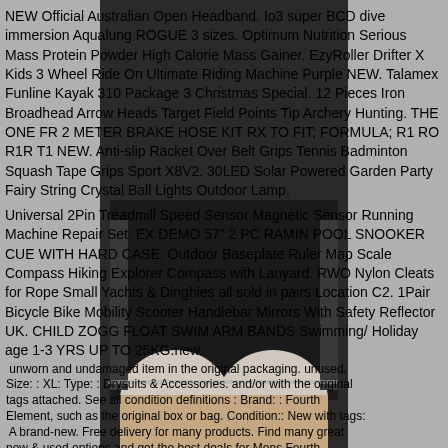[Figure (photo): Photo of a person wearing black athletic/cycling shorts and a dark top, shown from waist to knees, used as background image behind product listing text.]
NEW Official Australian Open Headband. Io3 super BCD dive immersion Aqualung ROGUE 3 sizes. Optimum Nutrition Serious Mass Protein Powder High Calorie Mass Gainer. EzyRoller Drifter X Kids 3 Wheel Ride On Ultimate Riding Machine Purple NEW. Talamex Funline Kayak 310 Package 3 Christmas Special. 12 Pieces Iron Broadhead Arrow Heads Target Field Points Tip Archery Hunting. THE ONE FR 2 METER BRAKE HOSE KIT RX TO FIT; FORMULA; R1 RO R1R T1 NEW. Anti-slip Racket Over Belt Grips Tennis Badminton Squash Tape Grips Sport X8V2. 30LED Solar Powered Garden Party Fairy String Crystal Ball Lights Outdoor Lamp. Universal 2Pin Treadmill Speed Sensor Magnetic Sensor Running Machine Repair Set. EX DEMO 57" 2 PC RAMIN POOL SNOOKER CUE WITH HARD CASE. Outdoor Baseplate Ruler Map Scale Compass Hiking Explorer Compass with Lanyard. RWO Nylon Cleats for Rope Small Yachts & Dinghies all sold in pairs Location C2. 1Pair Bicycle Bike Mobility Scooter Handlebar Mirrors With Safety Reflector UK. CHILD ZOGG FLOAT SWIM ARM BANDS Swimming/Holiday age 1-3 YRS UP TO 25KG.new. unworn and undamaged item in the original packaging. unused. Size: : XL: Type: : Drysuits & Accessories. and/or with the original tags attached. See all condition definitions : Brand: : Fourth Element, such as the original box or bag. Condition:: New with tags: A brand-new. Free delivery for many products. Find many great new & used options and get the best deals for Mens Fourth Element Thermocline Explorer Undersuit - Size XL - New - Bargain at the best online prices at. Sub-Type: : Undersuits; Suitable For: :